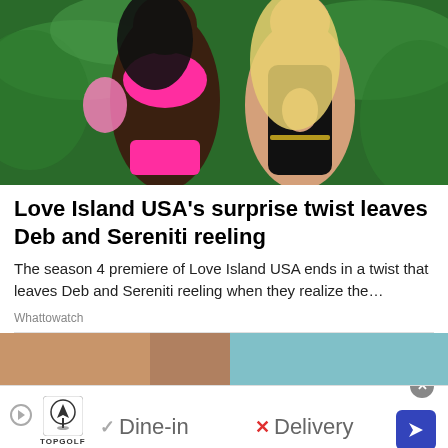[Figure (photo): Two women in swimwear standing outdoors among tropical green leaves. Left woman wears a bright pink bikini and holds a pink fan. Right woman wears a black cutout swimsuit with chain accessories and has long blonde hair.]
Love Island USA's surprise twist leaves Deb and Sereniti reeling
The season 4 premiere of Love Island USA ends in a twist that leaves Deb and Sereniti reeling when they realize the…
Whattowatch
[Figure (photo): Partial view of a second article image showing skin tones and a teal/blue background, cropped.]
[Figure (other): Advertisement banner for Topgolf showing logo, checkmark with 'Dine-in', X mark with 'Delivery', navigation arrow icon, close button, and play button.]